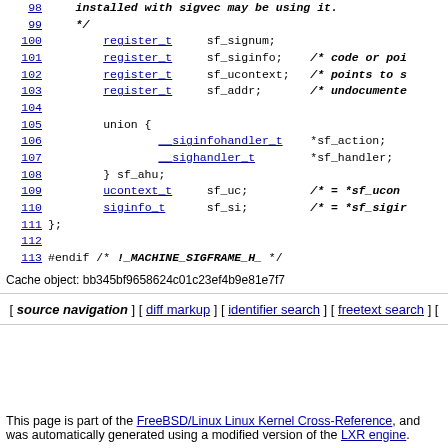Source code listing lines 98-113 with C struct sigframe definition
Cache object: bb345bf9658624c01c23ef4b9e81e7f7
[ source navigation ] [ diff markup ] [ identifier search ] [ freetext search ] [
This page is part of the FreeBSD/Linux Linux Kernel Cross-Reference, and was automatically generated using a modified version of the LXR engine.